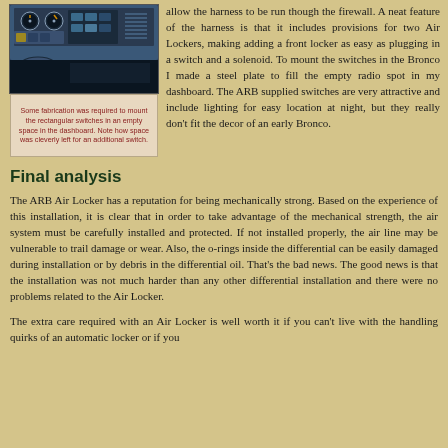[Figure (photo): Photo of a blue vehicle dashboard with switches and controls mounted in it]
Some fabrication was required to mount the rectangular switches in an empty space in the dashboard. Note how space was cleverly left for an additional switch.
allow the harness to be run though the firewall. A neat feature of the harness is that it includes provisions for two Air Lockers, making adding a front locker as easy as plugging in a switch and a solenoid. To mount the switches in the Bronco I made a steel plate to fill the empty radio spot in my dashboard. The ARB supplied switches are very attractive and include lighting for easy location at night, but they really don't fit the decor of an early Bronco.
Final analysis
The ARB Air Locker has a reputation for being mechanically strong. Based on the experience of this installation, it is clear that in order to take advantage of the mechanical strength, the air system must be carefully installed and protected. If not installed properly, the air line may be vulnerable to trail damage or wear. Also, the o-rings inside the differential can be easily damaged during installation or by debris in the differential oil. That's the bad news. The good news is that the installation was not much harder than any other differential installation and there were no problems related to the Air Locker.
The extra care required with an Air Locker is well worth it if you can't live with the handling quirks of an automatic locker or if you